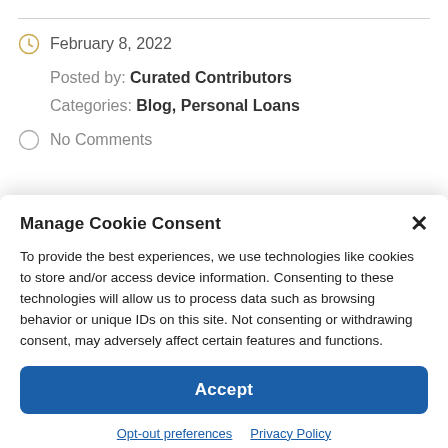February 8, 2022
Posted by: Curated Contributors
Categories: Blog, Personal Loans
No Comments
Manage Cookie Consent
To provide the best experiences, we use technologies like cookies to store and/or access device information. Consenting to these technologies will allow us to process data such as browsing behavior or unique IDs on this site. Not consenting or withdrawing consent, may adversely affect certain features and functions.
Accept
Opt-out preferences  Privacy Policy